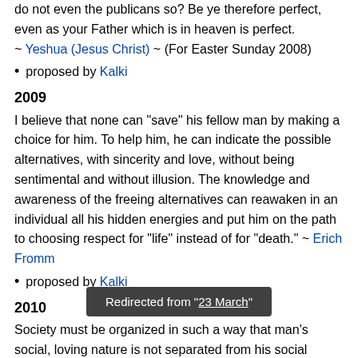do not even the publicans so? Be ye therefore perfect, even as your Father which is in heaven is perfect. ~ Yeshua (Jesus Christ) ~ (For Easter Sunday 2008)
proposed by Kalki
2009
I believe that none can "save" his fellow man by making a choice for him. To help him, he can indicate the possible alternatives, with sincerity and love, without being sentimental and without illusion. The knowledge and awareness of the freeing alternatives can reawaken in an individual all his hidden energies and put him on the path to choosing respect for "life" instead of for "death." ~ Erich Fromm
proposed by Kalki
2010
Society must be organized in such a way that man's social, loving nature is not separated from his social existence, but becomes one with it. If it is true, as I have
Redirected from "23 March"